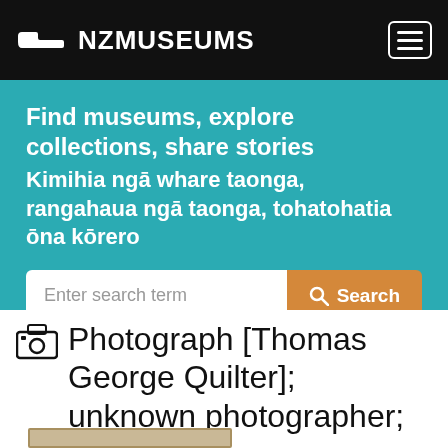NZMUSEUMS
Find museums, explore collections, share stories
Kimihia ngā whare taonga, rangahaua ngā taonga, tohatohatia ōna kōrero
Enter search term  Search
Photograph [Thomas George Quilter]; unknown photographer; 1938-1942; MT2015.20.5...
[Figure (photo): Partial view of a framed photograph with a light brown/beige mat/border visible at the bottom of the page]